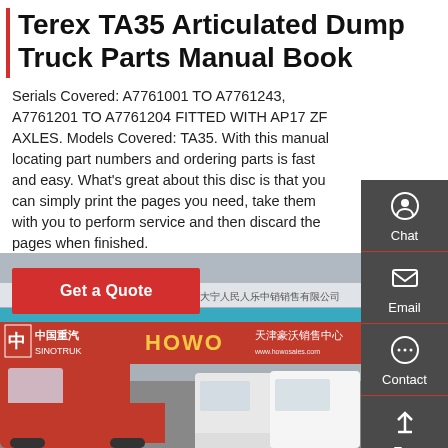Terex TA35 Articulated Dump Truck Parts Manual Book
Serials Covered: A7761001 TO A7761243, A7761201 TO A7761204 FITTED WITH AP17 ZF AXLES. Models Covered: TA35. With this manual locating part numbers and ordering parts is fast and easy. What's great about this disc is that you can simply print the pages you need, take them with you to perform service and then discard the pages when finished.
Get a Quote
[Figure (photo): SINOTRUK HOWO truck dealership storefront with red and white trucks parked outside. Signage reads 中国重汽 SINOTRUK HOWO 天津豪沃销售中心]